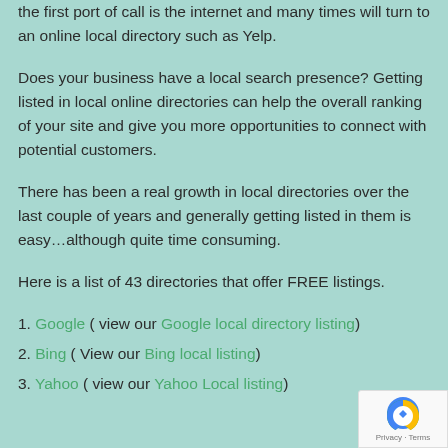the first port of call is the internet and many times will turn to an online local directory such as Yelp.
Does your business have a local search presence? Getting listed in local online directories can help the overall ranking of your site and give you more opportunities to connect with potential customers.
There has been a real growth in local directories over the last couple of years and generally getting listed in them is easy…although quite time consuming.
Here is a list of 43 directories that offer FREE listings.
1. Google ( view our Google local directory listing)
2. Bing ( View our Bing local listing)
3. Yahoo ( view our Yahoo Local listing)